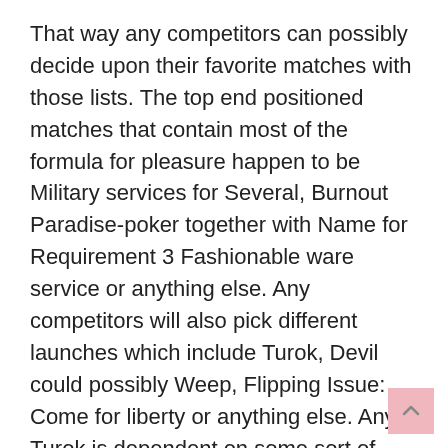That way any competitors can possibly decide upon their favorite matches with those lists. The top end positioned matches that contain most of the formula for pleasure happen to be Military services for Several, Burnout Paradise-poker together with Name for Requirement 3 Fashionable ware service or anything else. Any competitors will also pick different launches which include Turok, Devil could possibly Weep, Flipping Issue: Come for liberty or anything else. Any Turok is dependent on some sort of ambitious scenario. Any competitors happen to be most likely going that will execute any job for Ernest Turok who may be portion of best squad for Exceptional Factors.
Any competitors really need to perform any